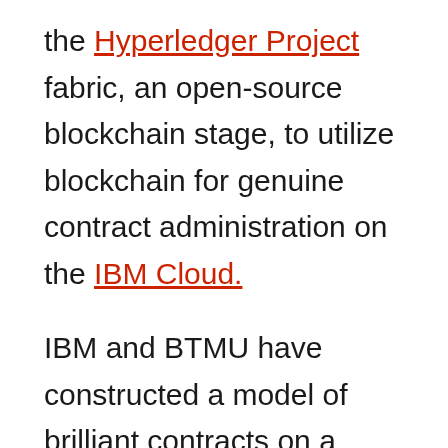the Hyperledger Project fabric, an open-source blockchain stage, to utilize blockchain for genuine contract administration on the IBM Cloud.
IBM and BTMU have constructed a model of brilliant contracts on a blockchain to enhance the proficiency and responsibility of administration level assentions in multi-party business connections. The bank arrangements to start utilizing it to oversee contracts inside their business in financial